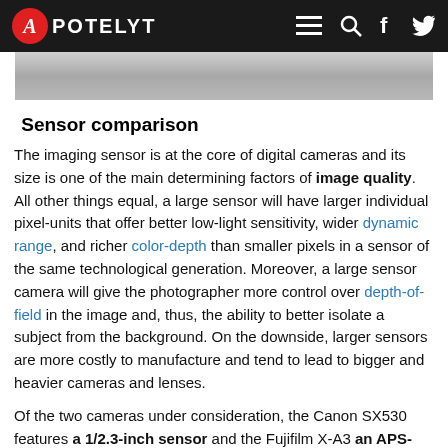APOTELYT
[Figure (photo): Blurred gray banner image at top of article]
Sensor comparison
The imaging sensor is at the core of digital cameras and its size is one of the main determining factors of image quality. All other things equal, a large sensor will have larger individual pixel-units that offer better low-light sensitivity, wider dynamic range, and richer color-depth than smaller pixels in a sensor of the same technological generation. Moreover, a large sensor camera will give the photographer more control over depth-of-field in the image and, thus, the ability to better isolate a subject from the background. On the downside, larger sensors are more costly to manufacture and tend to lead to bigger and heavier cameras and lenses.
Of the two cameras under consideration, the Canon SX530 features a 1/2.3-inch sensor and the Fujifilm X-A3 an APS-